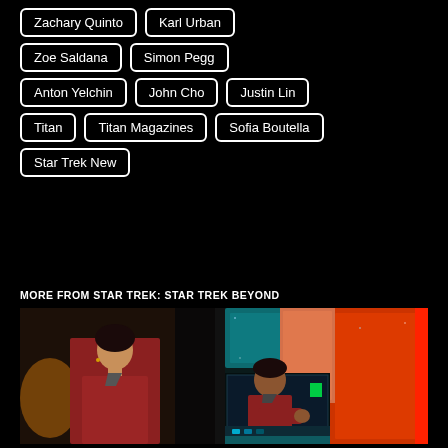Zachary Quinto
Karl Urban
Zoe Saldana
Simon Pegg
Anton Yelchin
John Cho
Justin Lin
Titan
Titan Magazines
Sofia Boutella
Star Trek New
MORE FROM STAR TREK: STAR TREK BEYOND
[Figure (photo): Composite image showing two Star Trek scenes: left panel shows a woman in a red uniform in a dark setting, right panel shows a person in a red Starfleet uniform at a console with colorful sci-fi interface panels in teal and red.]